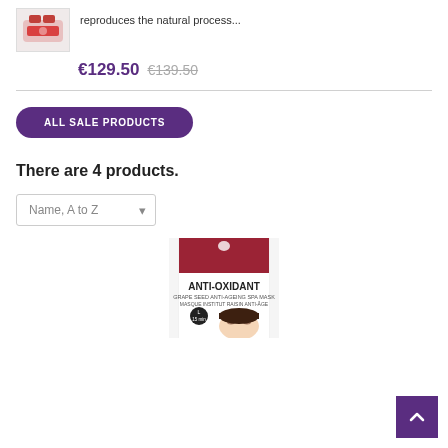[Figure (photo): Small product thumbnail image of a red/pink device]
reproduces the natural process...
€129.50  €139.50
ALL SALE PRODUCTS
There are 4 products.
Name, A to Z
[Figure (photo): Anti-Oxidant Grape Seed Anti-Ageing Spa Mask product packaging showing a woman's face]